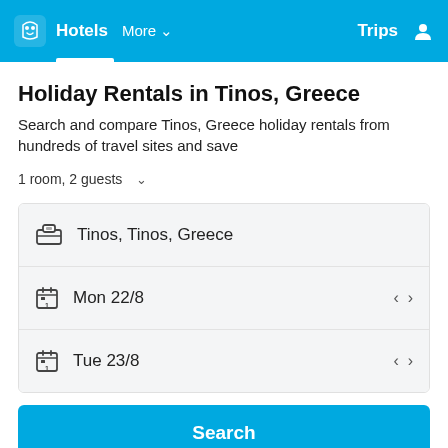Hotels  More  Trips
Holiday Rentals in Tinos, Greece
Search and compare Tinos, Greece holiday rentals from hundreds of travel sites and save
1 room, 2 guests
Tinos, Tinos, Greece
Mon 22/8
Tue 23/8
Search